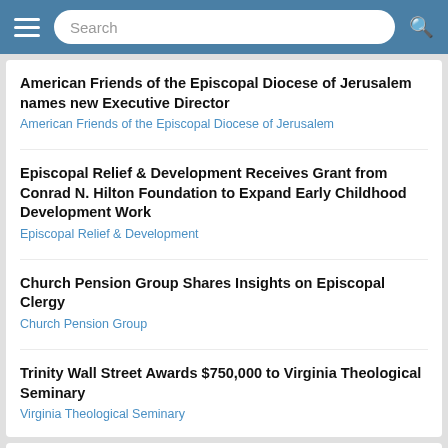Search
American Friends of the Episcopal Diocese of Jerusalem names new Executive Director
American Friends of the Episcopal Diocese of Jerusalem
Episcopal Relief & Development Receives Grant from Conrad N. Hilton Foundation to Expand Early Childhood Development Work
Episcopal Relief & Development
Church Pension Group Shares Insights on Episcopal Clergy
Church Pension Group
Trinity Wall Street Awards $750,000 to Virginia Theological Seminary
Virginia Theological Seminary
SPONSORED